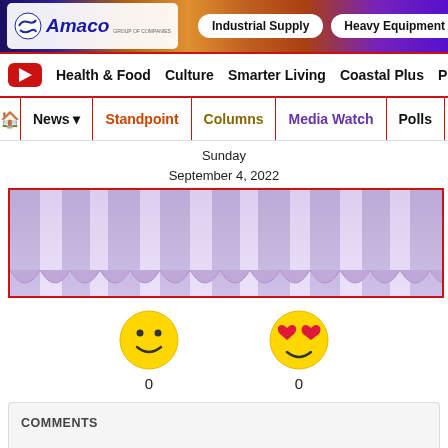[Figure (screenshot): Amaco Group of Companies banner with Industrial Supply and Heavy Equipment Rental pills, colorful gradient background]
Health & Food  Culture  Smarter Living  Coastal Plus  P
News  Standpoint  Columns  Media Watch  Polls
Sunday
September 4, 2022
[Figure (photo): Purple/lavender satin or silk curtain fabric, viewed from below, showing draped folds]
[Figure (infographic): Two emoji reaction icons: smiley face (0) and heart-eyes face (0)]
COMMENTS